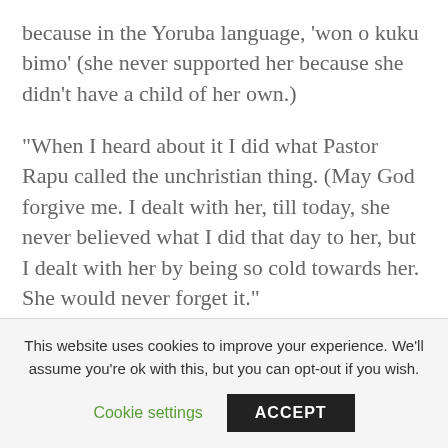because in the Yoruba language, 'won o kuku bimo' (she never supported her because she didn't have a child of her own.)
“When I heard about it I did what Pastor Rapu called the unchristian thing. (May God forgive me. I dealt with her, till today, she never believed what I did that day to her, but I dealt with her by being so cold towards her. She would never forget it.”
On letting her kids know that she was adopted, she said: “I then realized that I needed to tell my children
This website uses cookies to improve your experience. We'll assume you're ok with this, but you can opt-out if you wish.
Cookie settings
ACCEPT